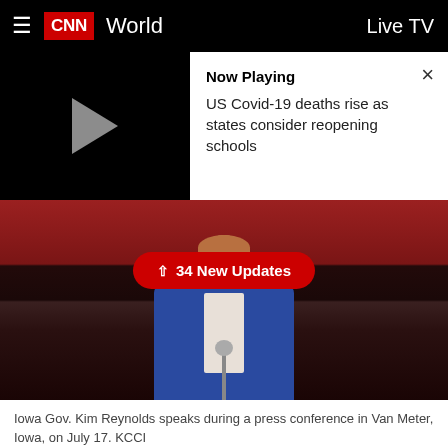≡ CNN World   Live TV
[Figure (screenshot): Video player with play button on dark background. Right panel shows 'Now Playing' text and video title 'US Covid-19 deaths rise as states consider reopening schools' with close button.]
[Figure (photo): Iowa Gov. Kim Reynolds stands at a podium in a blue blazer in front of red curtains. A red badge overlay reads '34 New Updates' with an upward arrow.]
Iowa Gov. Kim Reynolds speaks during a press conference in Van Meter, Iowa, on July 17. KCCI
Iowa Gov. Kim Reynolds said Friday that it's critical to